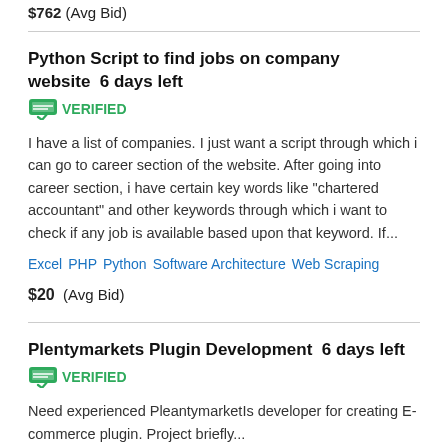$762  (Avg Bid)
Python Script to find jobs on company website  6 days left  VERIFIED
I have a list of companies. I just want a script through which i can go to career section of the website. After going into career section, i have certain key words like "chartered accountant" and other keywords through which i want to check if any job is available based upon that keyword. If...
Excel  PHP  Python  Software Architecture  Web Scraping
$20  (Avg Bid)
Plentymarkets Plugin Development  6 days left  VERIFIED
Need experienced PleantymarketIs developer for creating E-commerce plugin. Project briefly...